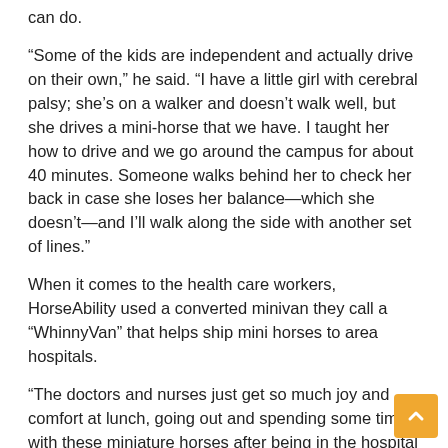can do.
“Some of the kids are independent and actually drive on their own,” he said. “I have a little girl with cerebral palsy; she’s on a walker and doesn’t walk well, but she drives a mini-horse that we have. I taught her how to drive and we go around the campus for about 40 minutes. Someone walks behind her to check her back in case she loses her balance—which she doesn’t—and I’ll walk along the side with another set of lines.”
When it comes to the health care workers, HorseAbility used a converted minivan they call a “WhinnyVan” that helps ship mini horses to area hospitals.
“The doctors and nurses just get so much joy and comfort at lunch, going out and spending some time with these miniature horses after being in the hospital and dealing with such death,” Siegelman said. “It was horrible (at its peak). They see the horses and some of them say they haven’t smiled like that in months.”